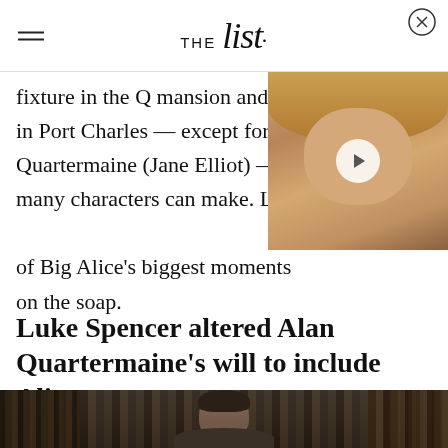THE list
fixture in the Q mansion and in Port Charles — except for Quartermaine (Jane Elliot) — many characters can make. of Big Alice's biggest moments on the soap.
[Figure (screenshot): Video thumbnail showing a blonde woman, with a play button overlay]
Luke Spencer altered Alan Quartermaine's will to include Alice
[Figure (photo): Photo of a person with short dark hair in front of bookshelves]